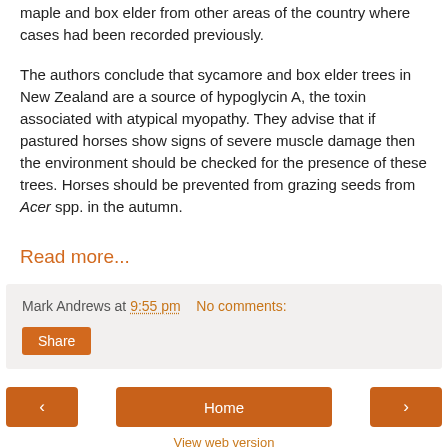maple and box elder from other areas of the country where cases had been recorded previously.
The authors conclude that sycamore and box elder trees in New Zealand are a source of hypoglycin A, the toxin associated with atypical myopathy. They advise that if pastured horses show signs of severe muscle damage then the environment should be checked for the presence of these trees. Horses should be prevented from grazing seeds from Acer spp. in the autumn.
Read more...
Mark Andrews at 9:55 pm   No comments:
Share
Home